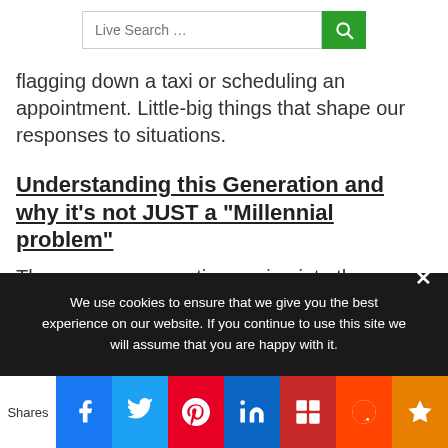Live Search ...
flagging down a taxi or scheduling an appointment. Little-big things that shape our responses to situations.
Understanding this Generation and why it's not JUST a “Millennial problem”
The younger generations going into the workforce become frustrated
We use cookies to ensure that we give you the best experience on our website. If you continue to use this site we will assume that you are happy with it.
Shares